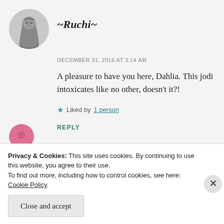[Figure (photo): Circular avatar photo of a man looking downward, black and white style]
~Ruchi~
DECEMBER 31, 2016 AT 3:14 AM
A pleasure to have you here, Dahlia. This jodi intoxicates like no other, doesn't it?!
★ Liked by 1 person
REPLY
Privacy & Cookies: This site uses cookies. By continuing to use this website, you agree to their use.
To find out more, including how to control cookies, see here: Cookie Policy
Close and accept